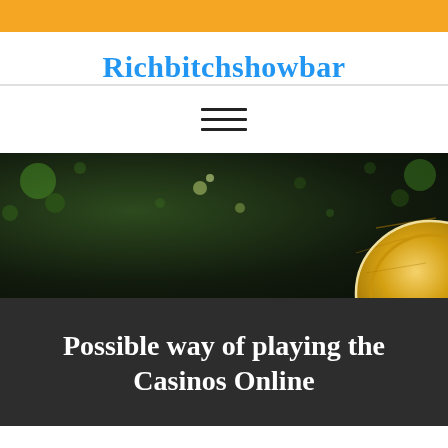Richbitchshowbar
[Figure (screenshot): Dark bokeh background with green light dots and a gold coin visible at bottom right corner]
Possible way of playing the Casinos Online